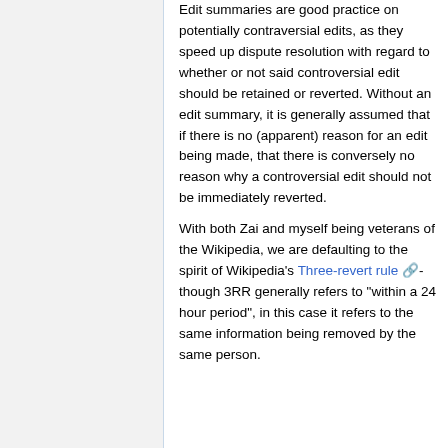Edit summaries are good practice on potentially contraversial edits, as they speed up dispute resolution with regard to whether or not said controversial edit should be retained or reverted. Without an edit summary, it is generally assumed that if there is no (apparent) reason for an edit being made, that there is conversely no reason why a controversial edit should not be immediately reverted.
With both Zai and myself being veterans of the Wikipedia, we are defaulting to the spirit of Wikipedia's Three-revert rule - though 3RR generally refers to "within a 24 hour period", in this case it refers to the same information being removed by the same person.